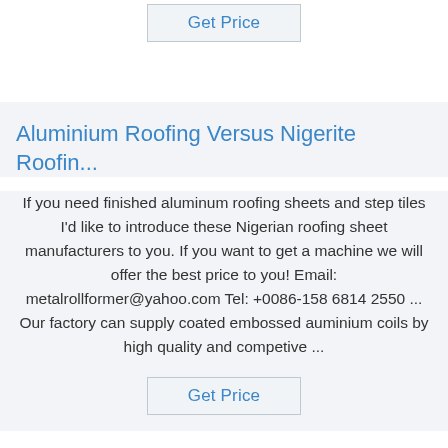Get Price
Aluminium Roofing Versus Nigerite Roofin...
If you need finished aluminum roofing sheets and step tiles I'd like to introduce these Nigerian roofing sheet manufacturers to you. If you want to get a machine we will offer the best price to you! Email: metalrollformer@yahoo.com Tel: +0086-158 6814 2550 ... Our factory can supply coated embossed auminium coils by high quality and competive ...
Get Price
Amazon.com: Simpson Strong Tie C511R...
The longer lengths are ideal for installing curved Spanish roof tiles and thick slates. Also is easily and conveniently available with